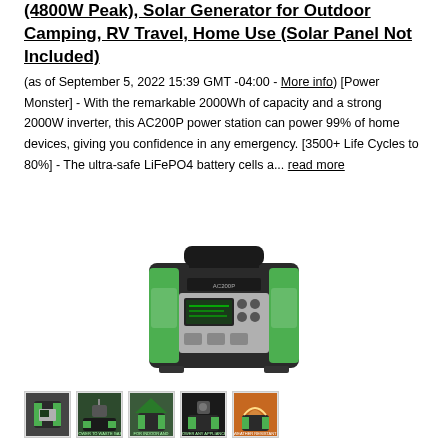(4800W Peak), Solar Generator for Outdoor Camping, RV Travel, Home Use (Solar Panel Not Included)
(as of September 5, 2022 15:39 GMT -04:00 - More info) [Power Monster] - With the remarkable 2000Wh of capacity and a strong 2000W inverter, this AC200P power station can power 99% of home devices, giving you confidence in any emergency. [3500+ Life Cycles to 80%] - The ultra-safe LiFePO4 battery cells a... read more
[Figure (photo): A portable power station / solar generator unit, black and green colored, with handles, ports, and display screen visible on front.]
[Figure (photo): Five thumbnail images of the solar generator product showing various use cases: front view, powering tools, outdoor use, powering appliances, weather resistant.]